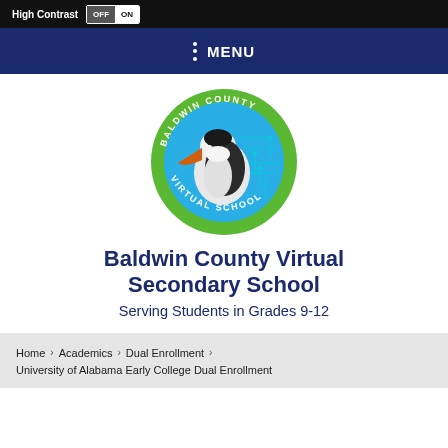High Contrast OFF ON
MENU
[Figure (logo): Baldwin County Virtual School circular logo featuring a pelican with orange beak, digital circuit background, green border with text 'BALDWIN COUNTY VIRTUAL SCHOOL']
Baldwin County Virtual Secondary School
Serving Students in Grades 9-12
Home › Academics › Dual Enrollment › University of Alabama Early College Dual Enrollment